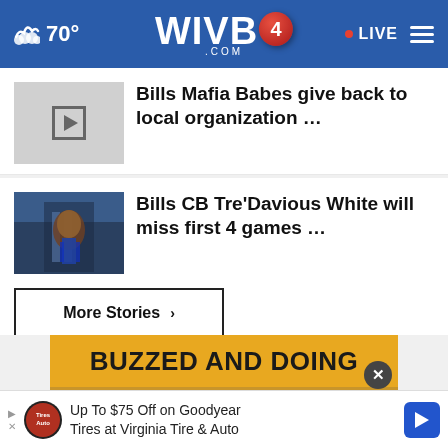WIVB4.COM — 70° — LIVE
Bills Mafia Babes give back to local organization ...
Bills CB Tre'Davious White will miss first 4 games ...
More Stories ›
[Figure (infographic): Advertisement: BUZZED AND DOING SOMETHING TO MAKE YOURSELF... with close button]
Up To $75 Off on Goodyear Tires at Virginia Tire & Auto